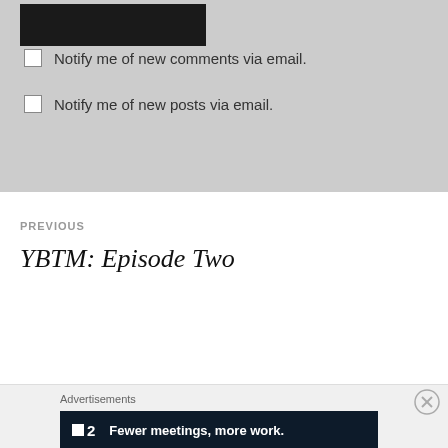Notify me of new comments via email.
Notify me of new posts via email.
PREVIOUS
YBTM: Episode Two
Advertisements
[Figure (other): Advertisement banner: dark navy background with a white square icon, number '2', and text 'Fewer meetings, more work.']